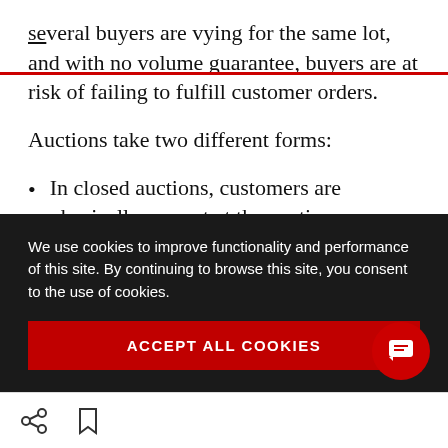several buyers are vying for the same lot, and with no volume guarantee, buyers are at risk of failing to fulfill customer orders.
Auctions take two different forms:
In closed auctions, customers are physically present at the auction venue and submit single, closed bids for selected boxes.
We use cookies to improve functionality and performance of this site. By continuing to browse this site, you consent to the use of cookies.
ACCEPT ALL COOKIES